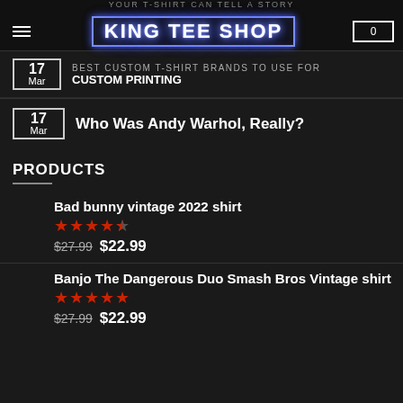King Tee Shop
YOUR T-SHIRT CAN TELL A STORY
17 Mar BEST CUSTOM T-SHIRT BRANDS TO USE FOR CUSTOM PRINTING
17 Mar Who Was Andy Warhol, Really?
PRODUCTS
Bad bunny vintage 2022 shirt — Rating: 4.5 stars — $27.99  $22.99
Banjo The Dangerous Duo Smash Bros Vintage shirt — Rating: 5 stars — $27.99  $22.99